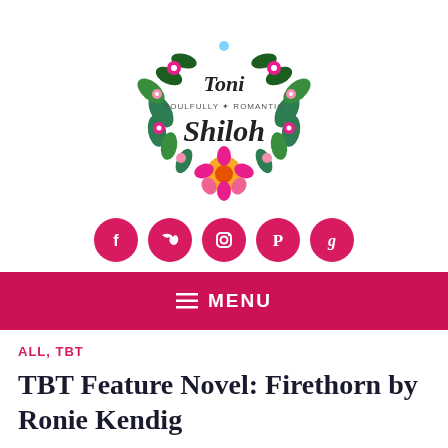[Figure (logo): Toni Shiloh Soulfully Romantic floral wreath logo with colorful flowers and leaves surrounding the text]
[Figure (infographic): Five pink circular social media icon buttons: Facebook, Twitter, Instagram, Pinterest, Goodreads]
≡ MENU
ALL, TBT
TBT Feature Novel: Firethorn by Ronie Kendig